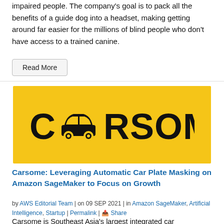impaired people. The company's goal is to pack all the benefits of a guide dog into a headset, making getting around far easier for the millions of blind people who don't have access to a trained canine.
Read More
[Figure (logo): CARSOME logo on a yellow/gold background. The letter A is replaced by a car icon silhouette.]
Carsome: Leveraging Automatic Car Plate Masking on Amazon SageMaker to Focus on Growth
by AWS Editorial Team | on 09 SEP 2021 | in Amazon SageMaker, Artificial Intelligence, Startup | Permalink | Share
Carsome is Southeast Asia's largest integrated car ecommerce